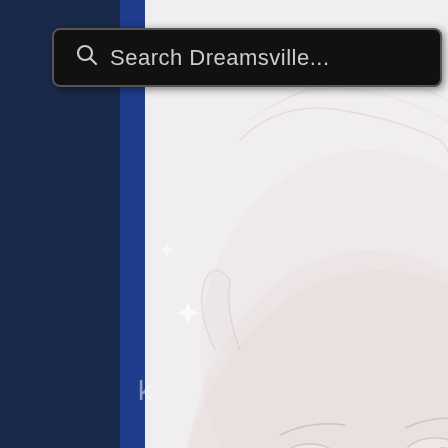[Figure (illustration): A webpage screenshot showing a search bar with 'Search Dreamsville...' placeholder text on a dark background, overlaid on a faded artistic illustration of a pale elf-like face in the center, and a colorful painted portrait visible on the right side. A hamburger menu button with three horizontal lines appears in the upper right area.]